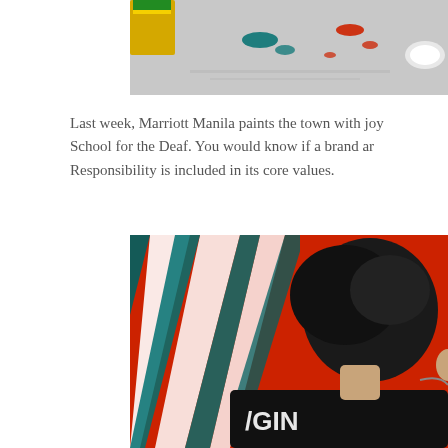[Figure (photo): Top photo showing paint supplies on a surface with splashes of red and teal paint, and a yellow paint container partially visible]
Last week, Marriott Manila paints the town with joy School for the Deaf. You would know if a brand ar Responsibility is included in its core values.
[Figure (photo): A person wearing a dark shirt with 'GIN' visible on the back, painting a colorful mural with red, teal, and white streaks]